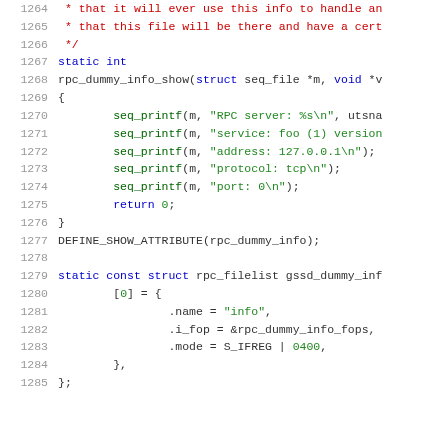[Figure (screenshot): Source code listing (C language) showing lines 1264-1285 with syntax highlighting: line numbers in gray, keywords in blue, string literals in green, comments in red, identifiers in black/dark.]